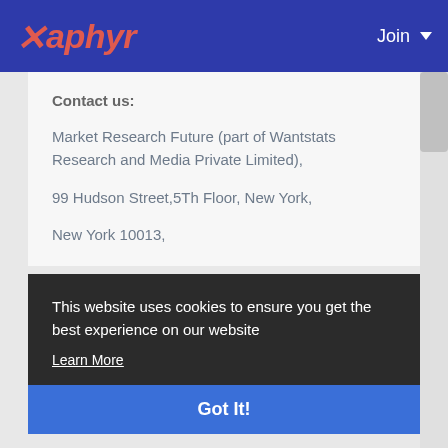Xaphyr — Join
Contact us:
Market Research Future (part of Wantstats Research and Media Private Limited),
99 Hudson Street,5Th Floor, New York,
New York 10013,
This website uses cookies to ensure you get the best experience on our website
Learn More
Got It!